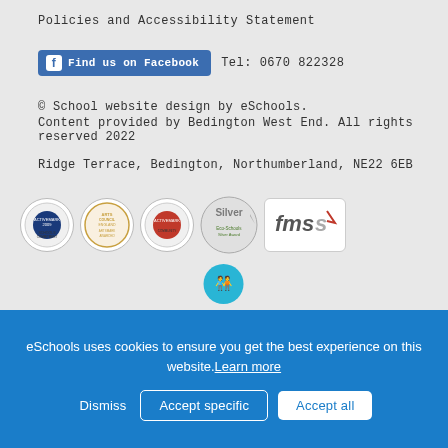Policies and Accessibility Statement
[Figure (logo): Facebook 'Find us on Facebook' button followed by Tel: 0670 822328]
© School website design by eSchools. Content provided by Bedington West End. All rights reserved 2022
Ridge Terrace, Bedington, Northumberland, NE22 6EB
[Figure (logo): Row of award badges: Activemark 2009, Arts Council England, Activemark, Eco-Schools Silver Award, FMSIS]
[Figure (logo): Healthy Schools logo]
eSchools uses cookies to ensure you get the best experience on this website. Learn more
Dismiss   Accept specific   Accept all